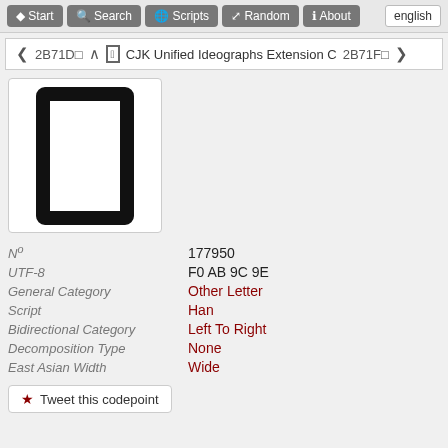Start  Search  Scripts  Random  About  english
< 2B71D  ^  CJK Unified Ideographs Extension C  2B71F >
[Figure (other): Large CJK character glyph displayed in a white rounded box - appears as a tall rectangular black outline character (U+2B71E)]
| Nº | 177950 |
| UTF-8 | F0 AB 9C 9E |
| General Category | Other Letter |
| Script | Han |
| Bidirectional Category | Left To Right |
| Decomposition Type | None |
| East Asian Width | Wide |
Tweet this codepoint